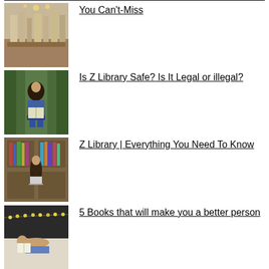[Figure (photo): Modern library interior with bookshelves and lights]
You Can't-Miss
[Figure (photo): Girl sitting cross-legged reading a book in front of bookshelves]
Is Z Library Safe? Is It Legal or illegal?
[Figure (photo): Person sitting in a bookshelf nook with a laptop]
Z Library | Everything You Need To Know
[Figure (photo): Child reading a book on a bed with string lights]
5 Books that will make you a better person